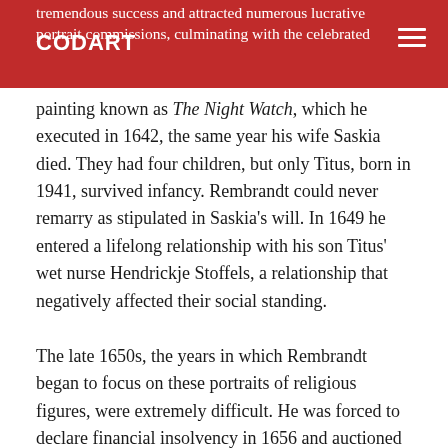CODART
tremendous success and attracted numerous lucrative portrait commissions, culminating with the celebrated painting known as The Night Watch, which he executed in 1642, the same year his wife Saskia died. They had four children, but only Titus, born in 1941, survived infancy. Rembrandt could never remarry as stipulated in Saskia’s will. In 1649 he entered a lifelong relationship with his son Titus’ wet nurse Hendrickje Stoffels, a relationship that negatively affected their social standing.
The late 1650s, the years in which Rembrandt began to focus on these portraits of religious figures, were extremely difficult. He was forced to declare financial insolvency in 1656 and auctioned off his art collection and household possessions. Younger Amsterdam artists largely deserted Rembrandt’s deeply personal manner of painting. Although he remained famous as an artist,